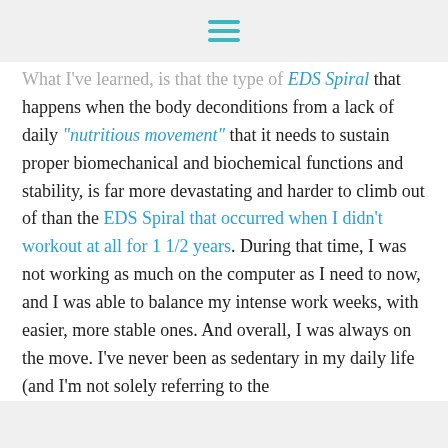[hamburger menu icon]
What I've learned, is that the type of EDS Spiral that happens when the body deconditions from a lack of daily "nutritious movement" that it needs to sustain proper biomechanical and biochemical functions and stability, is far more devastating and harder to climb out of than the EDS Spiral that occurred when I didn't workout at all for 1 1/2 years. During that time, I was not working as much on the computer as I need to now, and I was able to balance my intense work weeks, with easier, more stable ones. And overall, I was always on the move. I've never been as sedentary in my daily life (and I'm not solely referring to the